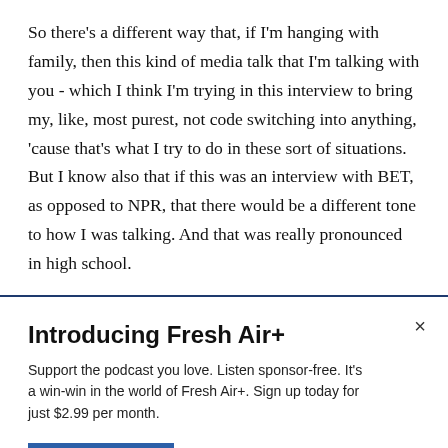So there's a different way that, if I'm hanging with family, then this kind of media talk that I'm talking with you - which I think I'm trying in this interview to bring my, like, most purest, not code switching into anything, 'cause that's what I try to do in these sort of situations. But I know also that if this was an interview with BET, as opposed to NPR, that there would be a different tone to how I was talking. And that was really pronounced in high school.
Introducing Fresh Air+
Support the podcast you love. Listen sponsor-free. It's a win-win in the world of Fresh Air+. Sign up today for just $2.99 per month.
SUBSCRIBE